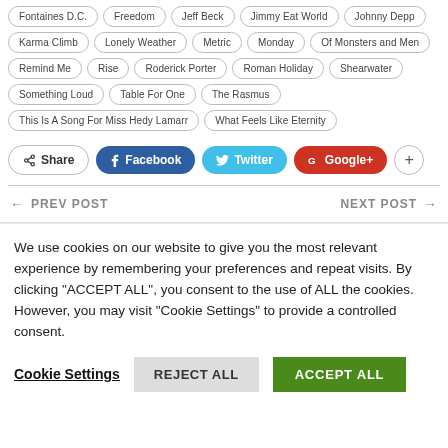Fontaines D.C.
Freedom
Jeff Beck
Jimmy Eat World
Johnny Depp
Karma Climb
Lonely Weather
Metric
Monday
Of Monsters and Men
Remind Me
Rise
Roderick Porter
Roman Holiday
Shearwater
Something Loud
Table For One
The Rasmus
This Is A Song For Miss Hedy Lamarr
What Feels Like Eternity
Share | Facebook | Twitter | Google+ | +
← PREV POST   NEXT POST →
We use cookies on our website to give you the most relevant experience by remembering your preferences and repeat visits. By clicking "ACCEPT ALL", you consent to the use of ALL the cookies. However, you may visit "Cookie Settings" to provide a controlled consent.
Cookie Settings  REJECT ALL  ACCEPT ALL